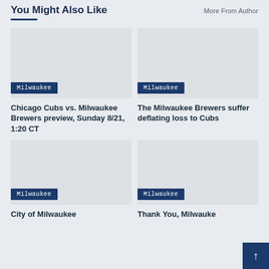You Might Also Like
More From Author
[Figure (photo): Placeholder image for Chicago Cubs vs. Milwaukee Brewers preview article with Milwaukee tag]
Milwaukee
Chicago Cubs vs. Milwaukee Brewers preview, Sunday 8/21, 1:20 CT
[Figure (photo): Placeholder image for The Milwaukee Brewers suffer deflating loss to Cubs article with Milwaukee tag]
Milwaukee
The Milwaukee Brewers suffer deflating loss to Cubs
[Figure (photo): Placeholder image for City of Milwaukee article with Milwaukee tag]
Milwaukee
City of Milwaukee
[Figure (photo): Placeholder image for Thank You, Milwaukee article with Milwaukee tag]
Milwaukee
Thank You, Milwauke